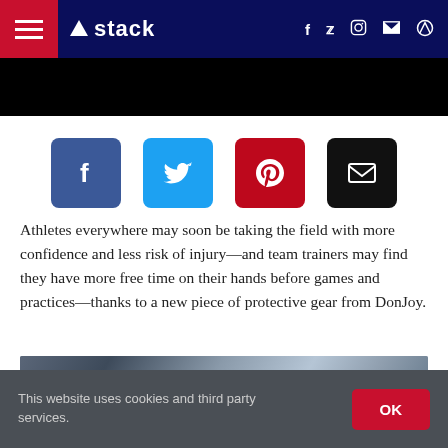stack
[Figure (illustration): Four social share buttons: Facebook (blue), Twitter (light blue), Pinterest (red), Email (black)]
Athletes everywhere may soon be taking the field with more confidence and less risk of injury—and team trainers may find they have more free time on their hands before games and practices—thanks to a new piece of protective gear from DonJoy.
[Figure (photo): Close-up photo of an athlete in gray athletic wear, blurred outdoor background with trees]
This website uses cookies and third party services.